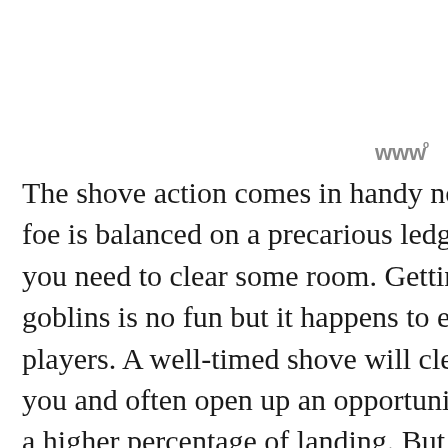[Figure (logo): Small stylized logo mark with superscript, top right area]
The shove action comes in handy not just for when a foe is balanced on a precarious ledge but also when you need to clear some room. Getting mobbed by goblins is no fun but it happens to even the best players. A well-timed shove will clear the air around you and often open up an opportunity to an attack with a higher percentage of landing. But that’s not where true satisfaction comes from though. No, true satisfaction comes in goading or guiding a high le